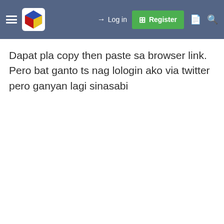Navigation bar with hamburger menu, cube logo, Log in, Register, document icon, and search icon
Dapat pla copy then paste sa browser link. Pero bat ganto ts nag lologin ako via twitter pero ganyan lagi sinasabi